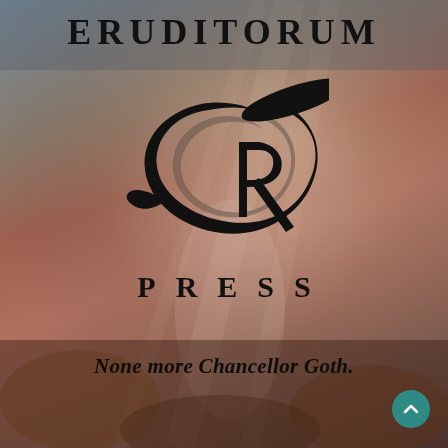[Figure (logo): Eruditorum Press logo with stylized 'EP' monogram and decorative background image of a classical painting with misty mountain/figure scene]
ERUDITORUM
PRESS
None more Chancellor Goth.